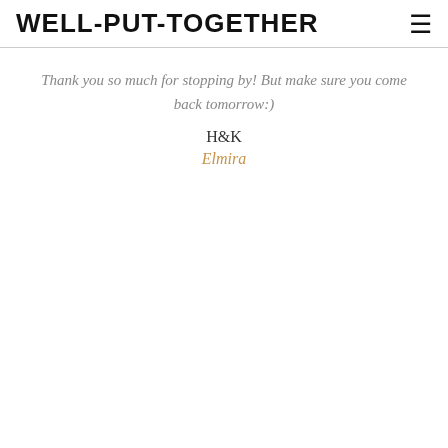WELL-PUT-TOGETHER
Thank you so much for stopping by! But make sure you come back tomorrow:)
H&K
Elmira